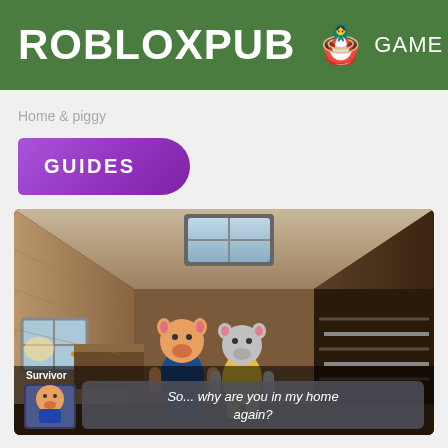ROBLOXPUB  GAME
Home & piggy
GUIDES
[Figure (screenshot): Roblox game screenshot showing two cartoon pig characters inside a wooden house/room. A dialogue box at the bottom shows a character labeled 'Survivor' saying 'So... why are you in my home again?']